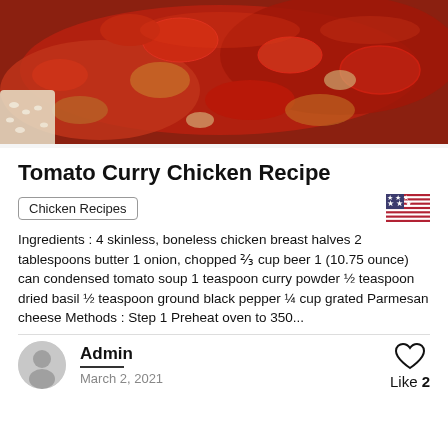[Figure (photo): Close-up photo of tomato curry chicken dish with red tomato sauce and pieces of chicken on a plate, with white rice visible on the left side.]
Tomato Curry Chicken Recipe
Chicken Recipes
Ingredients : 4 skinless, boneless chicken breast halves 2 tablespoons butter 1 onion, chopped ⅔ cup beer 1 (10.75 ounce) can condensed tomato soup 1 teaspoon curry powder ½ teaspoon dried basil ½ teaspoon ground black pepper ¼ cup grated Parmesan cheese Methods : Step 1 Preheat oven to 350...
Admin
March 2, 2021
Like 2